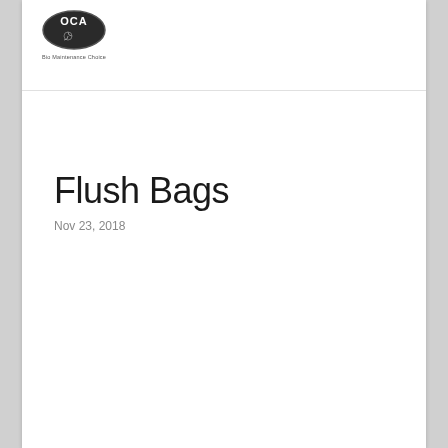[Figure (logo): OCA logo — dark oval badge with 'OCA' text and a small icon inside, with tagline text 'Bio Maintenance Choice' below]
Flush Bags
Nov 23, 2018